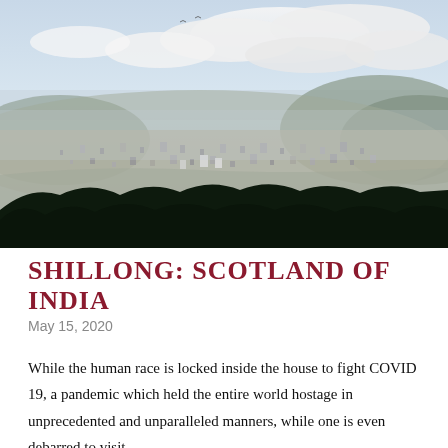[Figure (photo): Aerial/elevated panoramic view of Shillong city from a hilltop, showing dense urban settlement spread across a valley with green hills in the background and dramatic cloudy sky above. Dark silhouette of trees in the foreground.]
SHILLONG: SCOTLAND OF INDIA
May 15, 2020
While the human race is locked inside the house to fight COVID 19, a pandemic which held the entire world hostage in unprecedented and unparalleled manners, while one is even debarred to visit